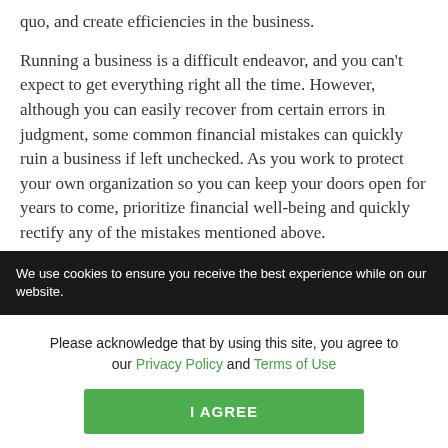quo, and create efficiencies in the business.
Running a business is a difficult endeavor, and you can't expect to get everything right all the time. However, although you can easily recover from certain errors in judgment, some common financial mistakes can quickly ruin a business if left unchecked. As you work to protect your own organization so you can keep your doors open for years to come, prioritize financial well-being and quickly rectify any of the mistakes mentioned above.
Disclosure: This material has been prepared for...
We use cookies to ensure you receive the best experience while on our website.
Please acknowledge that by using this site, you agree to our Privacy Policy and Terms of Use
I AGREE